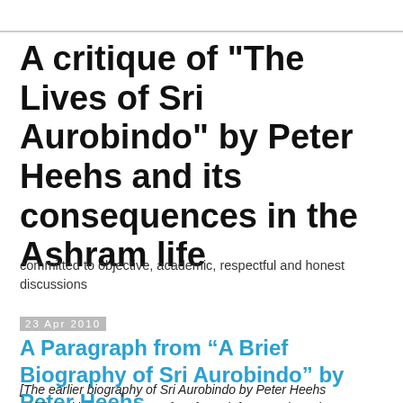A critique of "The Lives of Sri Aurobindo" by Peter Heehs and its consequences in the Ashram life
committed to objective, academic, respectful and honest discussions
23 Apr 2010
A Paragraph from “A Brief Biography of Sri Aurobindo” by Peter Heehs
[The earlier biography of Sri Aurobindo by Peter Heehs published in 1989 was not free from defects as the writer